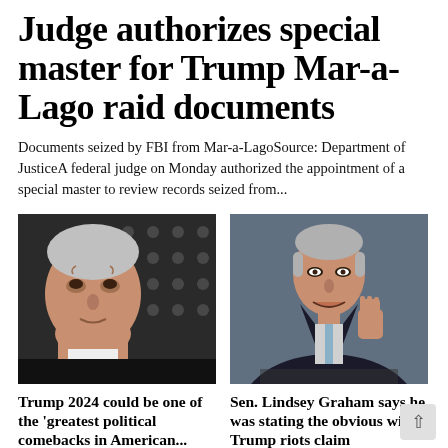Judge authorizes special master for Trump Mar-a-Lago raid documents
Documents seized by FBI from Mar-a-LagoSource: Department of JusticeA federal judge on Monday authorized the appointment of a special master to review records seized from...
[Figure (photo): Photo of an older man, likely Lindsey Graham, looking upward, with a dark dotted background]
[Figure (photo): Photo of a man in a dark suit with a raised fist, speaking at a podium]
Trump 2024 could be one of the ‘greatest political comebacks in American...
Sen. Lindsey Graham says he was stating the obvious with Trump riots claim